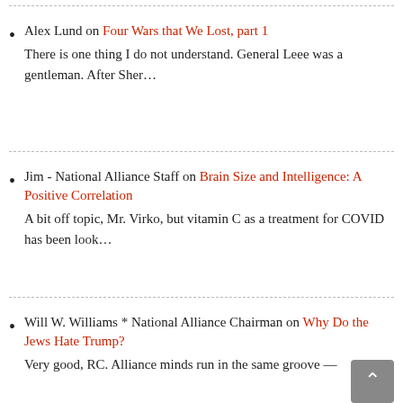Alex Lund on Four Wars that We Lost, part 1
There is one thing I do not understand. General Leee was a gentleman. After Sher…
Jim - National Alliance Staff on Brain Size and Intelligence: A Positive Correlation
A bit off topic, Mr. Virko, but vitamin C as a treatment for COVID has been look…
Will W. Williams * National Alliance Chairman on Why Do the Jews Hate Trump?
Very good, RC. Alliance minds run in the same groove —